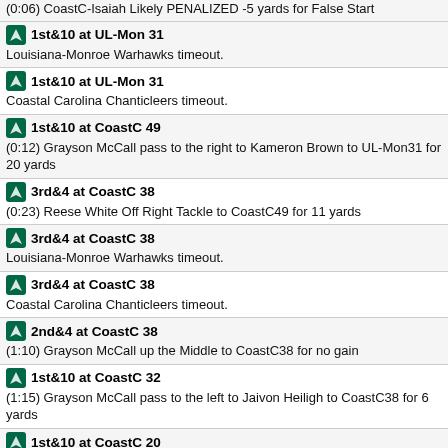(0:06) CoastC-Isaiah Likely PENALIZED -5 yards for False Start
1st&10 at UL-Mon 31 | Louisiana-Monroe Warhawks timeout.
1st&10 at UL-Mon 31 | Coastal Carolina Chanticleers timeout.
1st&10 at CoastC 49 | (0:12) Grayson McCall pass to the right to Kameron Brown to UL-Mon31 for 20 yards
3rd&4 at CoastC 38 | (0:23) Reese White Off Right Tackle to CoastC49 for 11 yards
3rd&4 at CoastC 38 | Louisiana-Monroe Warhawks timeout.
3rd&4 at CoastC 38 | Coastal Carolina Chanticleers timeout.
2nd&4 at CoastC 38 | (1:10) Grayson McCall up the Middle to CoastC38 for no gain
1st&10 at CoastC 32 | (1:15) Grayson McCall pass to the left to Jaivon Heiligh to CoastC38 for 6 yards
1st&10 at CoastC 20 | (1:23) Grayson McCall pass to the right to Reese White to CoastC32 for 12